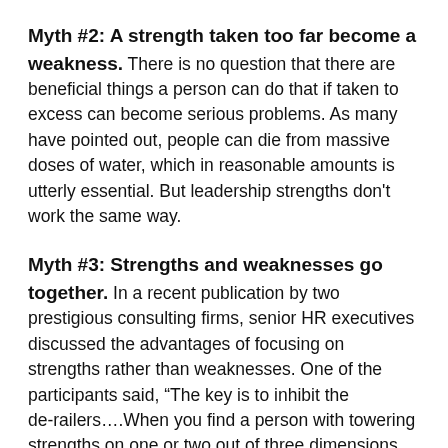Myth #2: A strength taken too far become a weakness. There is no question that there are beneficial things a person can do that if taken to excess can become serious problems. As many have pointed out, people can die from massive doses of water, which in reasonable amounts is utterly essential. But leadership strengths don't work the same way.
Myth #3: Strengths and weaknesses go together. In a recent publication by two prestigious consulting firms, senior HR executives discussed the advantages of focusing on strengths rather than weaknesses. One of the participants said, “The key is to inhibit the de-railers....When you find a person with towering strengths on one or two out of three dimensions, often there’s a fatal weakness on another."